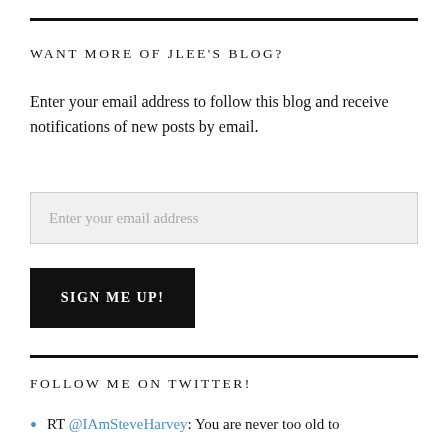WANT MORE OF JLEE'S BLOG?
Enter your email address to follow this blog and receive notifications of new posts by email.
Enter your email address
SIGN ME UP!
FOLLOW ME ON TWITTER!
RT @IAmSteveHarvey: You are never too old to